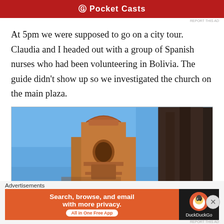[Figure (other): Pocket Casts advertisement banner — red background with Pocket Casts logo and text]
At 5pm we were supposed to go on a city tour. Claudia and I headed out with a group of Spanish nurses who had been volunteering in Bolivia. The guide didn't show up so we investigated the church on the main plaza.
[Figure (photo): Photo looking up at an ornate sandstone church tower bell against a bright blue sky, with another dark stone building edge visible on the right]
Advertisements
[Figure (other): DuckDuckGo advertisement: Search, browse, and email with more privacy. All in One Free App — orange background with DuckDuckGo duck logo on dark right panel]